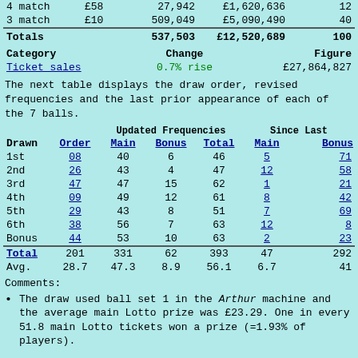|  |  |  |  |  |
| --- | --- | --- | --- | --- |
| 4 match | £58 | 27,942 | £1,620,636 | 12 |
| 3 match | £10 | 509,049 | £5,090,490 | 40 |
| Totals |  | 537,503 | £12,520,689 | 100 |
| Category | Change | Figure |
| --- | --- | --- |
| Ticket sales | 0.7% rise | £27,864,827 |
The next table displays the draw order, revised frequencies and the last prior appearance of each of the 7 balls.
| Drawn | Order | Main | Bonus | Total | Main | Bonus |
| --- | --- | --- | --- | --- | --- | --- |
| 1st | 08 | 40 | 6 | 46 | 5 | 71 |
| 2nd | 26 | 43 | 4 | 47 | 12 | 58 |
| 3rd | 47 | 47 | 15 | 62 | 1 | 21 |
| 4th | 09 | 49 | 12 | 61 | 8 | 42 |
| 5th | 29 | 43 | 8 | 51 | 7 | 69 |
| 6th | 38 | 56 | 7 | 63 | 12 | 8 |
| Bonus | 44 | 53 | 10 | 63 | 2 | 23 |
| Total | 201 | 331 | 62 | 393 | 47 | 292 |
| Avg. | 28.7 | 47.3 | 8.9 | 56.1 | 6.7 | 41 |
Comments:
The draw used ball set 1 in the Arthur machine and the average main Lotto prize was £23.29. One in every 51.8 main Lotto tickets won a prize (=1.93% of players).